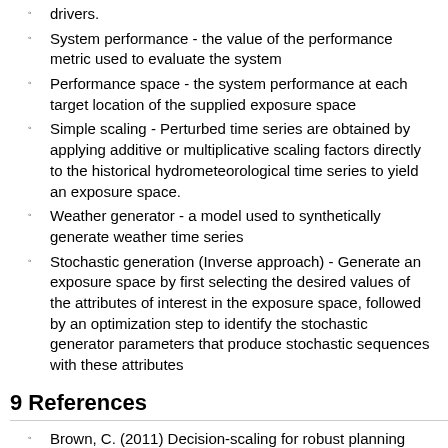drivers.
System performance - the value of the performance metric used to evaluate the system
Performance space - the system performance at each target location of the supplied exposure space
Simple scaling - Perturbed time series are obtained by applying additive or multiplicative scaling factors directly to the historical hydrometeorological time series to yield an exposure space.
Weather generator - a model used to synthetically generate weather time series
Stochastic generation (Inverse approach) - Generate an exposure space by first selecting the desired values of the attributes of interest in the exposure space, followed by an optimization step to identify the stochastic generator parameters that produce stochastic sequences with these attributes
9 References
Brown, C. (2011) Decision-scaling for robust planning and policy under climate uncertainty, World Resour. Rep., World Resour. Inst., Washington D.C. (Available